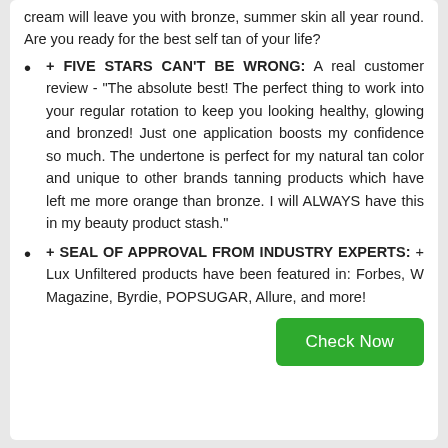cream will leave you with bronze, summer skin all year round. Are you ready for the best self tan of your life?
+ FIVE STARS CAN'T BE WRONG: A real customer review - "The absolute best! The perfect thing to work into your regular rotation to keep you looking healthy, glowing and bronzed! Just one application boosts my confidence so much. The undertone is perfect for my natural tan color and unique to other brands tanning products which have left me more orange than bronze. I will ALWAYS have this in my beauty product stash."
+ SEAL OF APPROVAL FROM INDUSTRY EXPERTS: + Lux Unfiltered products have been featured in: Forbes, W Magazine, Byrdie, POPSUGAR, Allure, and more!